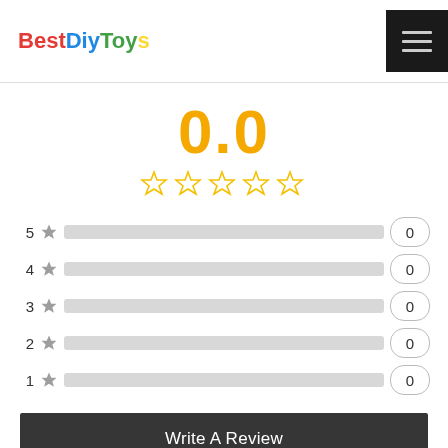BestDiyToys
0.0
[Figure (infographic): Five empty golden star rating icons in a row]
| Stars | Count |
| --- | --- |
| 5 ★ | 0 |
| 4 ★ | 0 |
| 3 ★ | 0 |
| 2 ★ | 0 |
| 1 ★ | 0 |
Write A Review